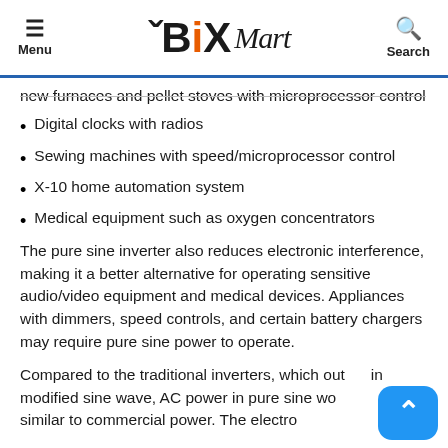Menu | BiX Mart | Search
new furnaces and pellet stoves with microprocessor control
Digital clocks with radios
Sewing machines with speed/microprocessor control
X-10 home automation system
Medical equipment such as oxygen concentrators
The pure sine inverter also reduces electronic interference, making it a better alternative for operating sensitive audio/video equipment and medical devices. Appliances with dimmers, speed controls, and certain battery chargers may require pure sine power to operate.
Compared to the traditional inverters, which out in modified sine wave, AC power in pure sine wo more similar to commercial power. The electro